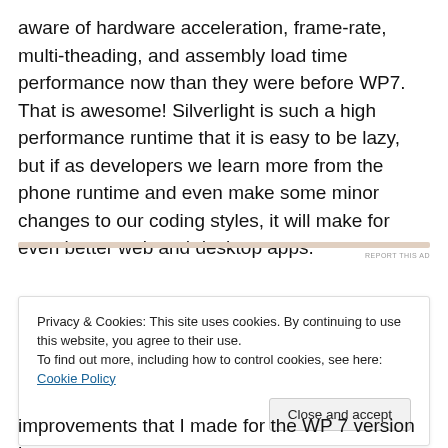aware of hardware acceleration, frame-rate, multi-theading, and assembly load time performance now than they were before WP7. That is awesome! Silverlight is such a high performance runtime that it is easy to be lazy, but if as developers we learn more from the phone runtime and even make some minor changes to our coding styles, it will make for even better web and desktop apps.
[Figure (other): Advertisement banner placeholder with faint horizontal bar and 'REPORT THIS AD' link text on the right]
Privacy & Cookies: This site uses cookies. By continuing to use this website, you agree to their use.
To find out more, including how to control cookies, see here: Cookie Policy
Close and accept
improvements that I made for the WP 7 version have